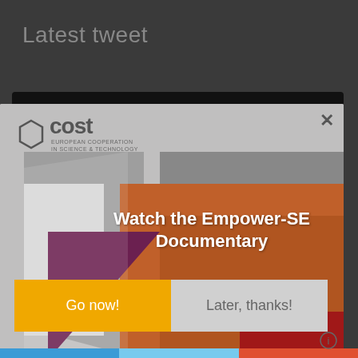Latest tweet
@untfsse upcoming events on
[Figure (screenshot): A modal popup overlay on a website showing the COST (European Cooperation in Science & Technology) logo, geometric background with triangles in grey, orange, purple, red and brown colors, headline text 'Watch the Empower-SE Documentary', a yellow 'Go now!' button and a grey 'Later, thanks!' button, with an X close button in the top right corner.]